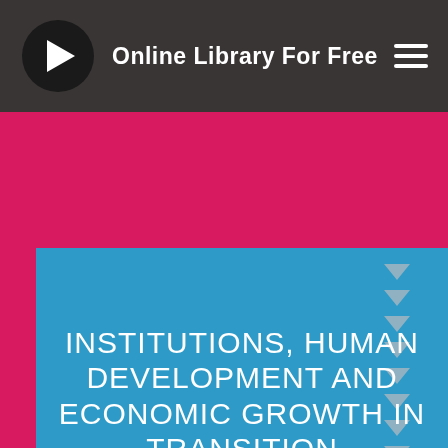Online Library For Free
[Figure (illustration): Book cover for 'Institutions, Human Development and Economic Growth in Transition Economies' by Pasquale Tridico. Blue background with downward-pointing grey triangles on the right side, on a magenta/pink border frame.]
INSTITUTIONS, HUMAN DEVELOPMENT AND ECONOMIC GROWTH IN TRANSITION ECONOMIES
Pasquale Tridico